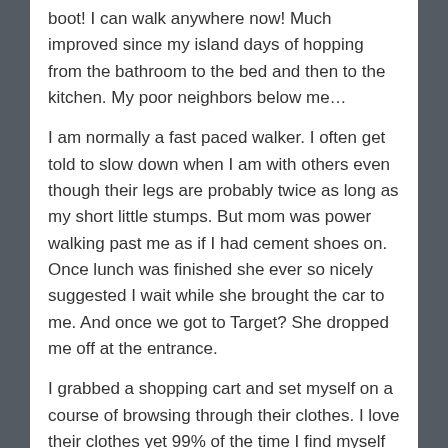boot! I can walk anywhere now! Much improved since my island days of hopping from the bathroom to the bed and then to the kitchen. My poor neighbors below me…
I am normally a fast paced walker. I often get told to slow down when I am with others even though their legs are probably twice as long as my short little stumps. But mom was power walking past me as if I had cement shoes on. Once lunch was finished she ever so nicely suggested I wait while she brought the car to me. And once we got to Target? She dropped me off at the entrance.
I grabbed a shopping cart and set myself on a course of browsing through their clothes. I love their clothes yet 99% of the time I find myself opting not to buy their, instead I hit Ann Taylor Loft. So basically, this was a trip